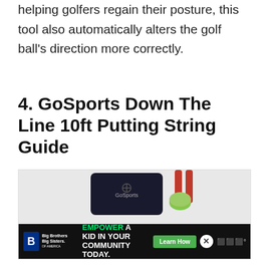helping golfers regain their posture, this tool also automatically alters the golf ball's direction more correctly.
4. GoSports Down The Line 10ft Putting String Guide
[Figure (photo): Product photo of the GoSports Down The Line 10ft Putting String Guide, showing a dark carrying pouch with the GoSports logo and red-tipped stakes with a bright green string, with an advertisement banner at the bottom for Big Brothers Big Sisters: 'EMPOWER A KID IN YOUR COMMUNITY TODAY.' with a 'Learn How' button.]